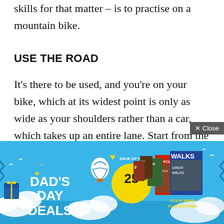skills for that matter – is to practise on a mountain bike.
USE THE ROAD
It's there to be used, and you're on your bike, which at its widest point is only as wide as your shoulders rather than a car, which takes up an entire lane. Start from the outside of the corner and as you ride through the apex move towards the inside of the road; effectively cutting the corner. It's important to keep the motion smooth as you won't need to work off...
[Figure (infographic): Dad's Day Deals advertisement banner: blue sky background with clouds, hot air balloon, text 'DAD'S DAY DEALS', 'SAVE UP TO 25%' in yellow circle, magazine covers on right side including Bicycling and Walks magazines, 'CLICK HERE TO SUBSCRIBE' in yellow text at bottom right. A 'x Close' button overlay appears in grey at the top right.]